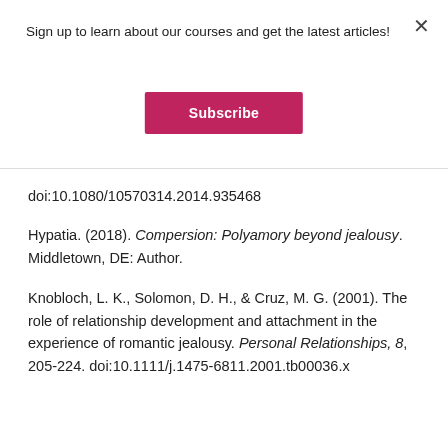Sign up to learn about our courses and get the latest articles!
Subscribe
doi:10.1080/10570314.2014.935468
Hypatia. (2018). Compersion: Polyamory beyond jealousy. Middletown, DE: Author.
Knobloch, L. K., Solomon, D. H., & Cruz, M. G. (2001). The role of relationship development and attachment in the experience of romantic jealousy. Personal Relationships, 8, 205-224. doi:10.1111/j.1475-6811.2001.tb00036.x